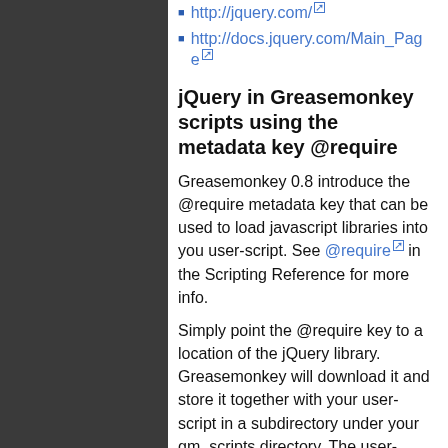http://jquery.com/
http://docs.jquery.com/Main_Page
jQuery in Greasemonkey scripts using the metadata key @require
Greasemonkey 0.8 introduce the @require metadata key that can be used to load javascript libraries into you user-script. See @require in the Scripting Reference for more info.
Simply point the @require key to a location of the jQuery library. Greasemonkey will download it and store it together with your user-script in a subdirectory under your gm_scripts directory. The user-script